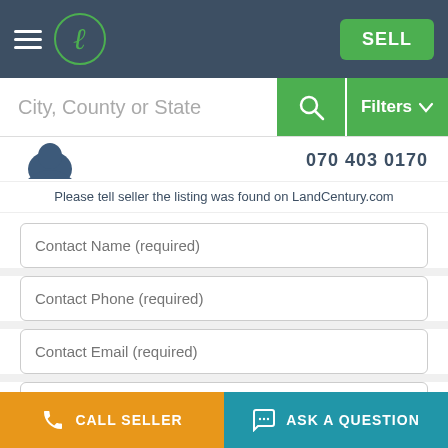LandCentury navigation bar with hamburger menu, logo, and SELL button
City, County or State — search bar with Filters
Please tell seller the listing was found on LandCentury.com
Contact Name (required)
Contact Phone (required)
Contact Email (required)
I am interested in listing LC-2001-274214. Please send me more info.
Ask a Question
CALL SELLER | ASK A QUESTION